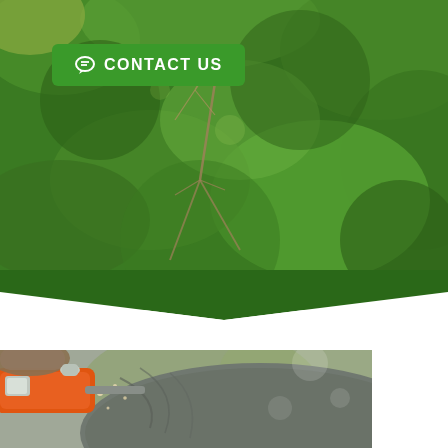[Figure (photo): Aerial view of lush green trees and bushes with bare branches visible, outdoor garden/forest scene photographed from above]
Contact Us
[Figure (photo): Close-up of an orange chainsaw cutting through a rough log or tree trunk, sawdust visible, gloved hand holding the saw]